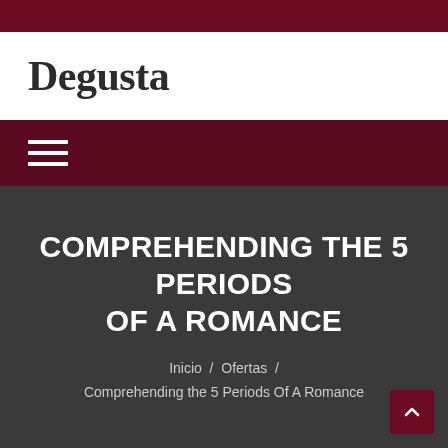Degusta
COMPREHENDING THE 5 PERIODS OF A ROMANCE
Inicio / Ofertas / Comprehending the 5 Periods Of A Romance